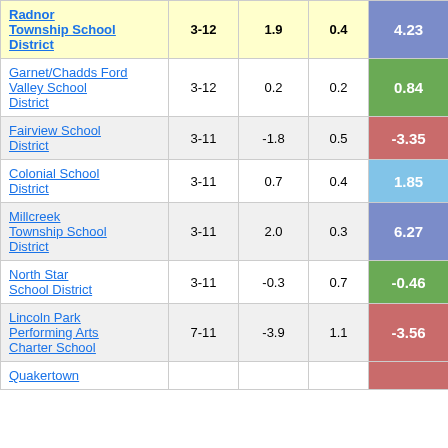| District | Grades | Col3 | Col4 | Score |
| --- | --- | --- | --- | --- |
| Radnor Township School District | 3-12 | 1.9 | 0.4 | 4.23 |
| Garnet/Chadds Ford Valley School District | 3-12 | 0.2 | 0.2 | 0.84 |
| Fairview School District | 3-11 | -1.8 | 0.5 | -3.35 |
| Colonial School District | 3-11 | 0.7 | 0.4 | 1.85 |
| Millcreek Township School District | 3-11 | 2.0 | 0.3 | 6.27 |
| North Star School District | 3-11 | -0.3 | 0.7 | -0.46 |
| Lincoln Park Performing Arts Charter School | 7-11 | -3.9 | 1.1 | -3.56 |
| Quakertown |  |  |  |  |